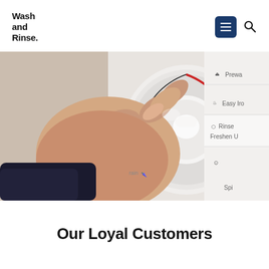Wash and Rinse.
[Figure (photo): Close-up of a hand turning a washing machine dial/knob, with washing machine settings visible including Prewash, Easy Iron, Rinse, Freshen Up, and Spin labels]
Our Loyal Customers